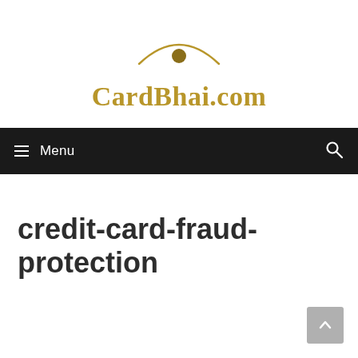[Figure (logo): CardBhai.com logo with a golden eye-arch symbol above the text 'CardBhai.com' in gold serif font]
≡ Menu
credit-card-fraud-protection